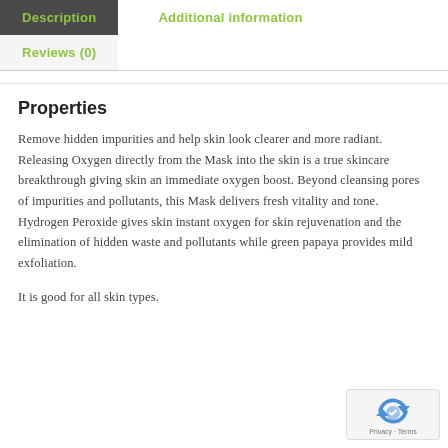Description
Additional information
Reviews (0)
Properties
Remove hidden impurities and help skin look clearer and more radiant. Releasing Oxygen directly from the Mask into the skin is a true skincare breakthrough giving skin an immediate oxygen boost. Beyond cleansing pores of impurities and pollutants, this Mask delivers fresh vitality and tone. Hydrogen Peroxide gives skin instant oxygen for skin rejuvenation and the elimination of hidden waste and pollutants while green papaya provides mild exfoliation.
It is good for all skin types.